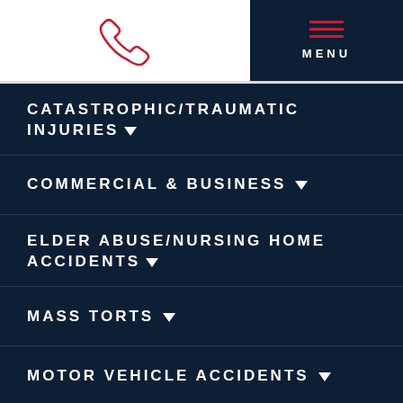[Figure (logo): Red phone icon outline]
MENU
CATASTROPHIC/TRAUMATIC INJURIES
COMMERCIAL & BUSINESS
ELDER ABUSE/NURSING HOME ACCIDENTS
MASS TORTS
MOTOR VEHICLE ACCIDENTS